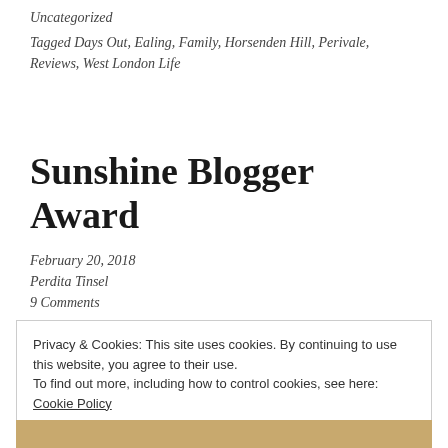Uncategorized
Tagged Days Out, Ealing, Family, Horsenden Hill, Perivale, Reviews, West London Life
Sunshine Blogger Award
February 20, 2018
Perdita Tinsel
9 Comments
Privacy & Cookies: This site uses cookies. By continuing to use this website, you agree to their use.
To find out more, including how to control cookies, see here: Cookie Policy
[Figure (photo): Partial bottom strip of a photograph, tan/golden color, cropped at bottom of page]